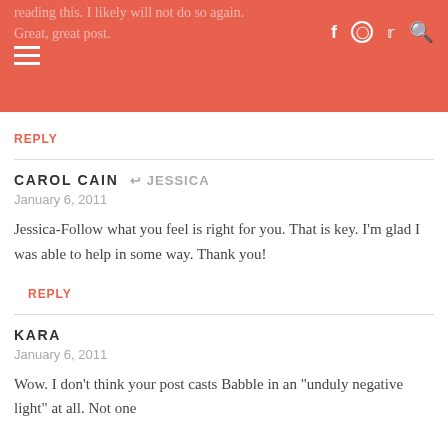reading this. I likely will not do so again.
Great, great post.
REPLY
CAROL CAIN → JESSICA
January 6, 2011
Jessica-Follow what you feel is right for you. That is key. I'm glad I was able to help in some way. Thank you!
REPLY
KARA
January 6, 2011
Wow. I don't think your post casts Babble in an "unduly negative light" at all. Not one